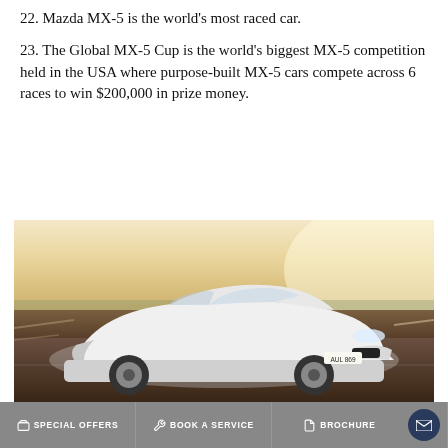22. Mazda MX-5 is the world's most raced car.
23. The Global MX-5 Cup is the world's biggest MX-5 competition held in the USA where purpose-built MX-5 cars compete across 6 races to win $200,000 in prize money.
[Figure (photo): White Mazda MX-5 sports car driving on a road, front three-quarter view, with motion blur background suggesting speed. Caption overlay reads '4TH GENERATION - 2015 - TODAY'.]
SPECIAL OFFERS   BOOK A SERVICE   BROCHURE